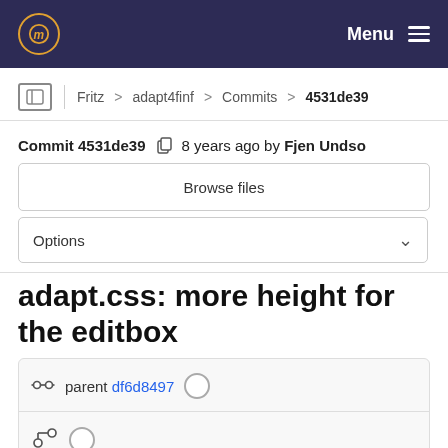Menu
Fritz > adapt4finf > Commits > 4531de39
Commit 4531de39  8 years ago by Fjen Undso
Browse files
Options
adapt.css: more height for the editbox
parent df6d8497